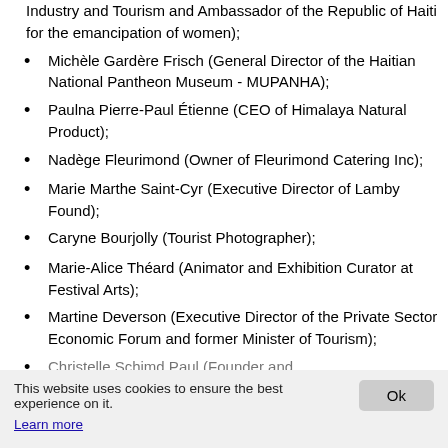Danièle Saint-Lot (Former Minister of Trade, Industry and Tourism and Ambassador of the Republic of Haiti for the emancipation of women);
Michèle Gardère Frisch (General Director of the Haitian National Pantheon Museum - MUPANHA);
Paulna Pierre-Paul Étienne (CEO of Himalaya Natural Product);
Nadège Fleurimond (Owner of Fleurimond Catering Inc);
Marie Marthe Saint-Cyr (Executive Director of Lamby Found);
Caryne Bourjolly (Tourist Photographer);
Marie-Alice Théard (Animator and Exhibition Curator at Festival Arts);
Martine Deverson (Executive Director of the Private Sector Economic Forum and former Minister of Tourism);
Christelle Schimd Paul (Founder and ...
This website uses cookies to ensure the best experience on it.
Learn more